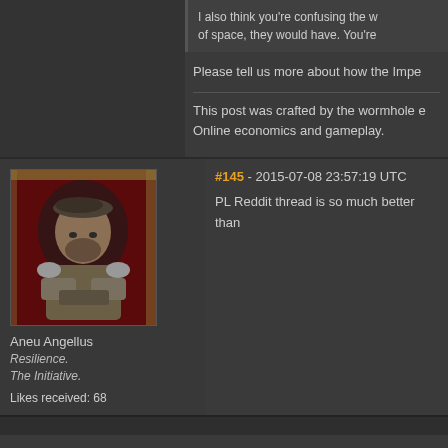I also think you're confusing the w... of space, they would have. You're...
Please tell us more about how the Impe...
This post was crafted by the wormhole e... Online economics and gameplay.
#145 - 2015-07-08 23:57:19 UTC
[Figure (illustration): Game character portrait of Aneu Angellus, a figure with crossed arms in military-style clothing against a dark red background with decorative border]
Aneu Angellus
Resilience.
The Initiative.
Likes received: 68
PL Reddit thread is so much better than...